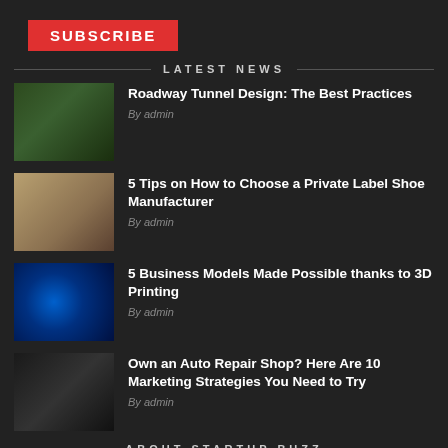[Figure (other): Red SUBSCRIBE button]
LATEST NEWS
[Figure (photo): Thumbnail of a roadway tunnel]
Roadway Tunnel Design: The Best Practices
By admin
[Figure (photo): Thumbnail of a shoe being held]
5 Tips on How to Choose a Private Label Shoe Manufacturer
By admin
[Figure (photo): Thumbnail of 3D printing glowing blue sphere]
5 Business Models Made Possible thanks to 3D Printing
By admin
[Figure (photo): Thumbnail of auto repair engine]
Own an Auto Repair Shop? Here Are 10 Marketing Strategies You Need to Try
By admin
ABOUT STARTUP BUZZ